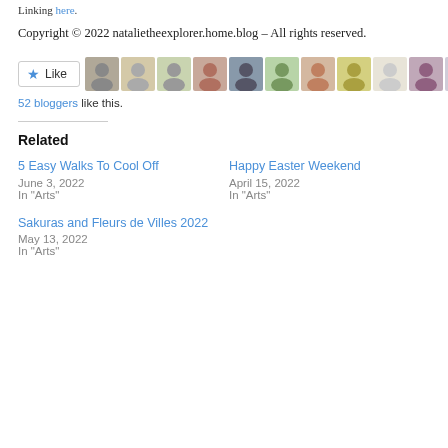Linking here.
Copyright © 2022 natalietheexplorer.home.blog – All rights reserved.
[Figure (other): Like button with star icon, followed by 11 blogger avatar thumbnails, and text '52 bloggers like this.']
Related
5 Easy Walks To Cool Off
June 3, 2022
In "Arts"
Happy Easter Weekend
April 15, 2022
In "Arts"
Sakuras and Fleurs de Villes 2022
May 13, 2022
In "Arts"